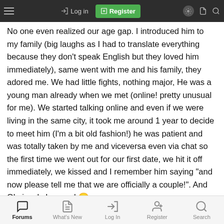Navigation bar with hamburger menu, Log in, Register, and icon buttons
No one even realized our age gap. I introduced him to my family (big laughs as I had to translate everything because they don't speak English but they loved him immediately), same went with me and his family, they adored me. We had little fights, nothing major, He was a young man already when we met (online! pretty unusual for me). We started talking online and even if we were living in the same city, it took me around 1 year to decide to meet him (I'm a bit old fashion!) he was patient and was totally taken by me and viceversa even via chat so the first time we went out for our first date, we hit it off immediately, we kissed and I remember him saying "and now please tell me that we are officially a couple!". And Obviously I agreed 🙂
Despite that, in the beginning, he wanted to "take it easy", and I was totally fine with that because I'm also scared of rushing things, but after a couple of months it was natural for us to move in together as
Forums | What's New | Log In | Register | Search